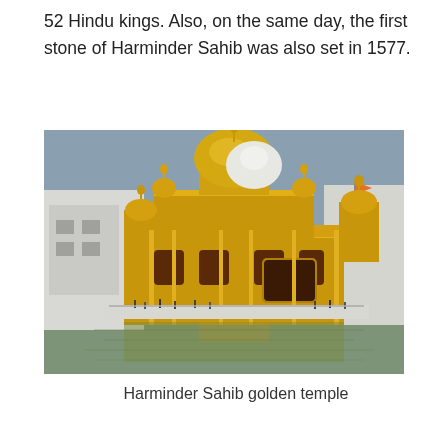52 Hindu kings. Also, on the same day, the first stone of Harminder Sahib was also set in 1577.
[Figure (photo): Photograph of Harminder Sahib (Golden Temple) in Amritsar, showing the golden structure reflected in the surrounding water, with a large golden dome, ornate architecture, white marble causeway, and visitors walking around the perimeter. Sky is overcast gray.]
Harminder Sahib golden temple